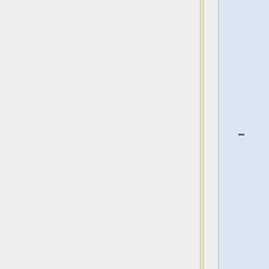[[wikipedia:AudioGO]] (former spin-off/partner of BBC, BBC audio assets sold off to Random House, all other non-BBC assets sold off to Amazon's Audible)</ref> <ref>AudioGO's assets sold off to Amazon's Audible and RandomHouse: http://www.thebookseller.com/news/audiogos-bbc-titles-signed-random-